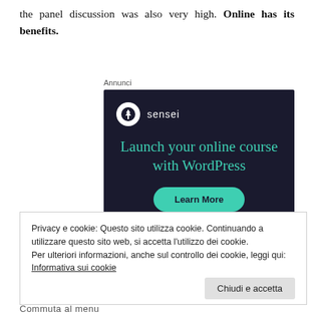the panel discussion was also very high. Online has its benefits.
[Figure (screenshot): Sensei advertisement: 'Launch your online course with WordPress' with a teal 'Learn More' button on a dark navy background, with the Sensei logo (tree icon in white circle) and brand name.]
Privacy e cookie: Questo sito utilizza cookie. Continuando a utilizzare questo sito web, si accetta l'utilizzo dei cookie.
Per ulteriori informazioni, anche sul controllo dei cookie, leggi qui:
Informativa sui cookie
Chiudi e accetta
Annunci